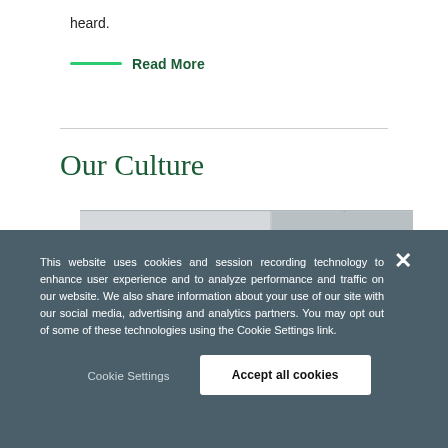heard.
Read More
Our Culture
[Figure (photo): Office interior showing a person with dark hair and a pendant lamp, partially visible, cropped at the top]
This website uses cookies and session recording technology to enhance user experience and to analyze performance and traffic on our website. We also share information about your use of our site with our social media, advertising and analytics partners. You may opt out of some of these technologies using the Cookie Settings link.
Cookie Settings
Accept all cookies